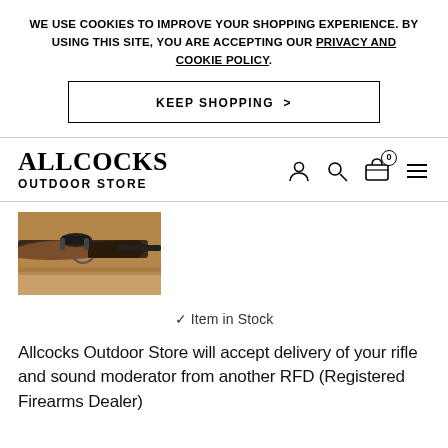WE USE COOKIES TO IMPROVE YOUR SHOPPING EXPERIENCE. BY USING THIS SITE, YOU ARE ACCEPTING OUR PRIVACY AND COOKIE POLICY.
KEEP SHOPPING >
[Figure (logo): Allcocks Outdoor Store logo with navigation icons (user, search, basket, menu)]
[Figure (photo): Photo of a rifle with scope on a surface]
✓ Item in Stock
Allcocks Outdoor Store will accept delivery of your rifle and sound moderator from another RFD (Registered Firearms Dealer)